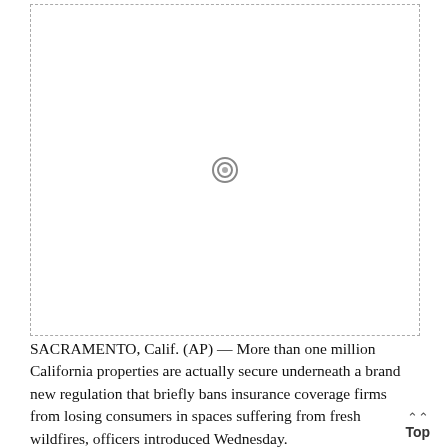[Figure (photo): A large image placeholder with a dashed border and a camera/loading icon in the center.]
SACRAMENTO, Calif. (AP) — More than one million California properties are actually secure underneath a brand new regulation that briefly bans insurance coverage firms from losing consumers in spaces suffering from fresh wildfires, officers introduced Wednesday.